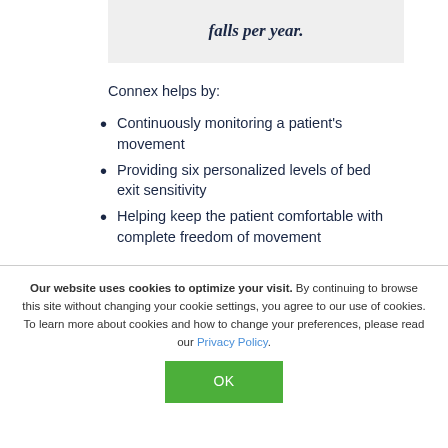falls per year.
Connex helps by:
Continuously monitoring a patient's movement
Providing six personalized levels of bed exit sensitivity
Helping keep the patient comfortable with complete freedom of movement
Our website uses cookies to optimize your visit. By continuing to browse this site without changing your cookie settings, you agree to our use of cookies. To learn more about cookies and how to change your preferences, please read our Privacy Policy.